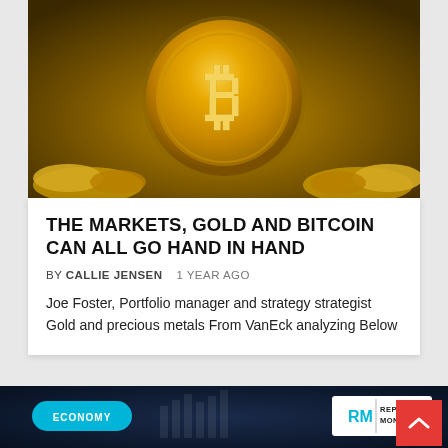[Figure (photo): Close-up photograph of a gold Bitcoin coin with gold nuggets in the background]
THE MARKETS, GOLD AND BITCOIN CAN ALL GO HAND IN HAND
BY CALLIE JENSEN   1 YEAR AGO
Joe Foster, Portfolio manager and strategy strategist Gold and precious metals From VanEck analyzing Below
[Figure (photo): Dark background image of a businessman in a suit holding a tablet displaying a holographic bar chart with an upward red arrow, with an ECONOMY badge and Reports Monitor logo overlay]